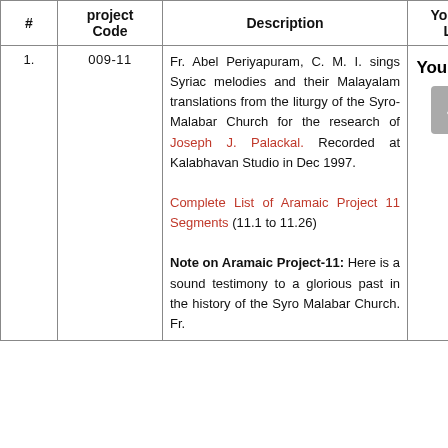| # | project Code | Description | Youtube Link |
| --- | --- | --- | --- |
| 1. | 009-11 | Fr. Abel Periyapuram, C. M. I. sings Syriac melodies and their Malayalam translations from the liturgy of the Syro-Malabar Church for the research of Joseph J. Palackal. Recorded at Kalabhavan Studio in Dec 1997.

Complete List of Aramaic Project 11 Segments (11.1 to 11.26)

Note on Aramaic Project-11: Here is a sound testimony to a glorious past in the history of the Syro Malabar Church. Fr. | [YouTube link icon] [back-to-top button] |